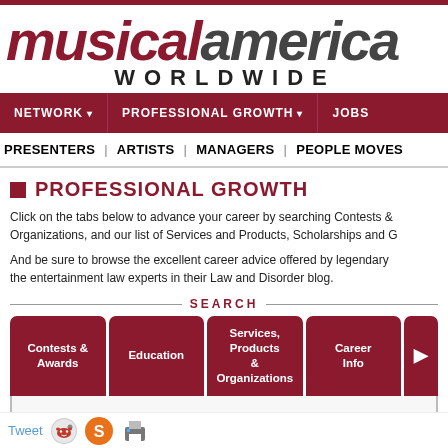[Figure (logo): Musical America Worldwide logo — 'musical' in dark red italic, 'america' in dark gray italic, 'WORLDWIDE' in spaced black capitals below]
NETWORK ▾  PROFESSIONAL GROWTH ▾  JOBS
PRESENTERS | ARTISTS | MANAGERS | PEOPLE MOVES
■ PROFESSIONAL GROWTH
Click on the tabs below to advance your career by searching Contests & Organizations, and our list of Services and Products, Scholarships and G
And be sure to browse the excellent career advice offered by legendary the entertainment law experts in their Law and Disorder blog.
SEARCH
Contests & Awards
Education
Services, Products & Organizations
Career Info
Tweet